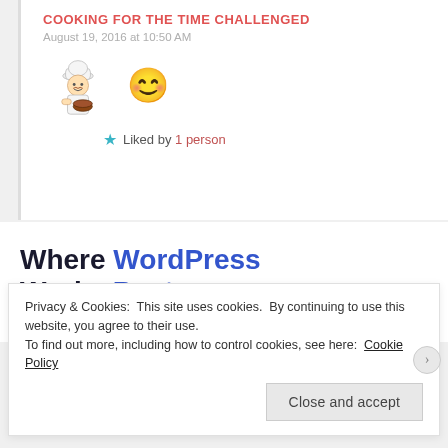COOKING FOR THE TIME CHALLENGED
August 19, 2016 at 10:50 AM
[Figure (illustration): Chef avatar illustration and smiley emoji face]
★ Liked by 1 person
Where WordPress Works Best
SEE PRICING
Privacy & Cookies: This site uses cookies. By continuing to use this website, you agree to their use.
To find out more, including how to control cookies, see here: Cookie Policy
Close and accept